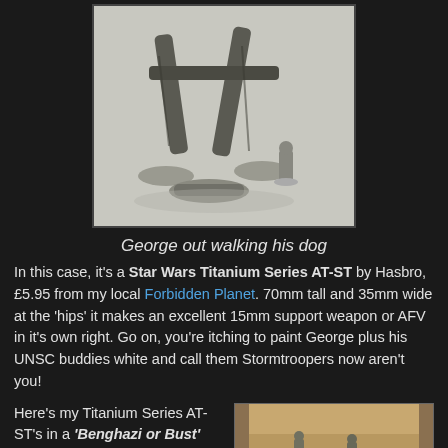[Figure (photo): Close-up photo of a Star Wars AT-ST miniature model standing over a small prone figure, with a standing UNSC soldier figure beside it, on a light grey background.]
George out walking his dog
In this case, it's a Star Wars Titanium Series AT-ST by Hasbro, £5.95 from my local Forbidden Planet. 70mm tall and 35mm wide at the 'hips' it makes an excellent 15mm support weapon or AFV in it's own right. Go on, you're itching to paint George plus his UNSC buddies white and call them Stormtroopers now aren't you!
Here's my Titanium Series AT-ST's in a 'Benghazi or Bust' Weird WWII game. Herr Leutnant Clumpf's
[Figure (photo): Photo showing miniature figures on a gaming table surface, partially visible at the bottom right of the page.]